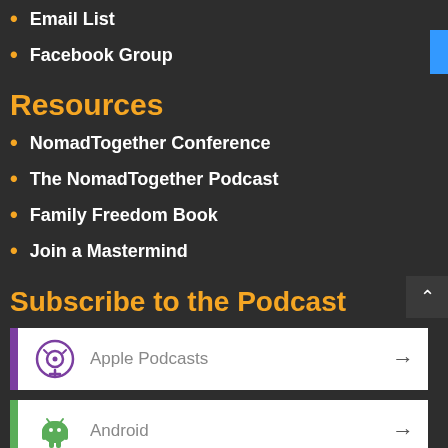Email List
Facebook Group
Resources
NomadTogether Conference
The NomadTogether Podcast
Family Freedom Book
Join a Mastermind
Subscribe to the Podcast
Apple Podcasts
Android